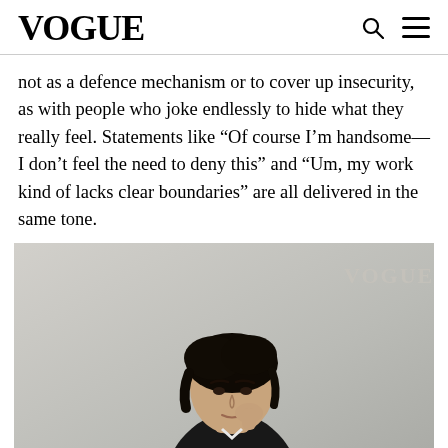VOGUE
not as a defence mechanism or to cover up insecurity, as with people who joke endlessly to hide what they really feel. Statements like “Of course I’m handsome—I don’t feel the need to deny this” and “Um, my work kind of lacks clear boundaries” are all delivered in the same tone.
[Figure (photo): A young Asian man with dark hair, resting his chin/hand near his face, wearing a dark jacket, photographed against a light grey background in a Vogue editorial style. The Vogue watermark appears in the top right of the image.]